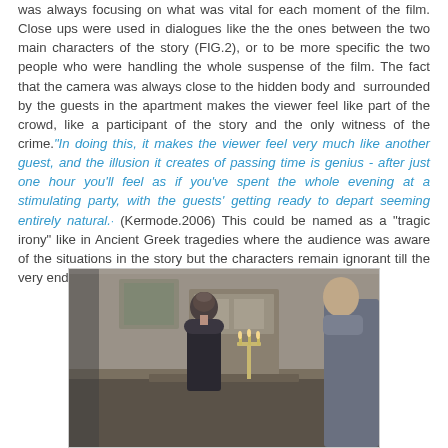was always focusing on what was vital for each moment of the film. Close ups were used in dialogues like the the ones between the two main characters of the story (FIG.2), or to be more specific the two people who were handling the whole suspense of the film. The fact that the camera was always close to the hidden body and surrounded by the guests in the apartment makes the viewer feel like part of the crowd, like a participant of the story and the only witness of the crime."In doing this, it makes the viewer feel very much like another guest, and the illusion it creates of passing time is genius - after just one hour you'll feel as if you've spent the whole evening at a stimulating party, with the guests' getting ready to depart seeming entirely natural." (Kermode.2006) This could be named as a "tragic irony" like in Ancient Greek tragedies where the audience was aware of the situations in the story but the characters remain ignorant till the very end.
[Figure (photo): A film still showing two people in formal attire in an interior setting with a candelabra and decorative furniture, likely from the movie 'Rope' by Alfred Hitchcock.]